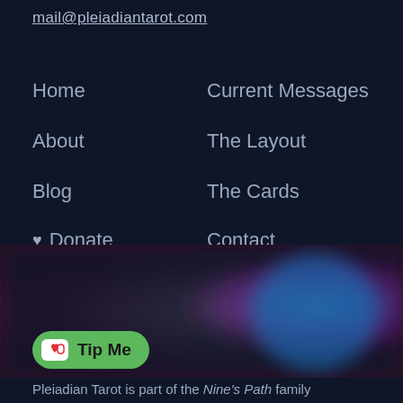mail@pleiadiantarot.com
Home
Current Messages
About
The Layout
Blog
The Cards
♥ Donate
Contact
Archives
[Figure (photo): Blurred colorful image with pink, magenta, blue and dark tones, heavily blurred]
Tip Me
Pleiadian Tarot is part of the Nine's Path family